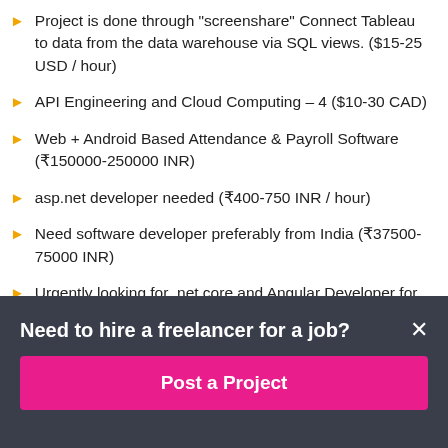Project is done through "screenshare" Connect Tableau to data from the data warehouse via SQL views. ($15-25 USD / hour)
API Engineering and Cloud Computing – 4 ($10-30 CAD)
Web + Android Based Attendance & Payroll Software (₹150000-250000 INR)
asp.net developer needed (₹400-750 INR / hour)
Need software developer preferably from India (₹37500-75000 INR)
Urgently looking for .net core and Angular Developer for full time job support ($1500-3000 CAD)
Need to hire a freelancer for a job?
Post a Project